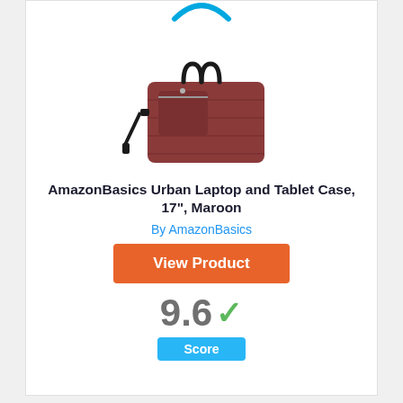[Figure (logo): Partial Amazon logo arc in blue at the top of the card]
[Figure (photo): AmazonBasics Urban Laptop and Tablet Case in Maroon color, a briefcase-style bag with shoulder strap]
AmazonBasics Urban Laptop and Tablet Case, 17", Maroon
By AmazonBasics
View Product
9.6 ✓
Score